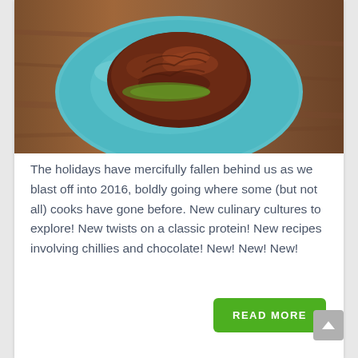[Figure (photo): A brown textured food item (appears to be a meat or chocolate dish) served on a blue ceramic plate, placed on a wooden surface. The photo is cropped showing the top half of the plate.]
The holidays have mercifully fallen behind us as we blast off into 2016, boldly going where some (but not all) cooks have gone before. New culinary cultures to explore! New twists on a classic protein! New recipes involving chillies and chocolate! New! New! New!
READ MORE